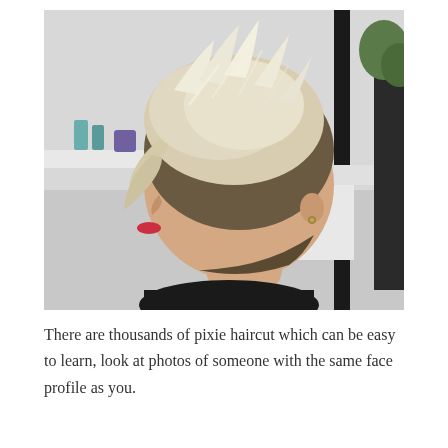[Figure (photo): A woman with a short pixie haircut shown in profile view (side view, facing left) with blonde highlighted hair with darker roots, sitting in what appears to be a hair salon. She is wearing a black top and has a small earring. The salon background is visible with white counters and black framing.]
There are thousands of pixie haircut which can be easy to learn, look at photos of someone with the same face profile as you.